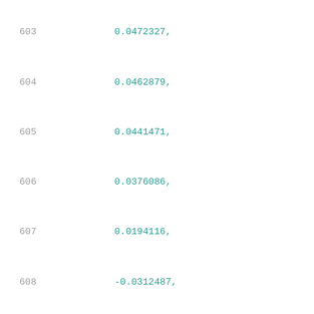603    0.0472327,
604    0.0462879,
605    0.0441471,
606    0.0376086,
607    0.0194116,
608    -0.0312487,
609    -0.168693
610 ],
611 [
612    0.0471239,
613    0.0462634,
614    0.0439408,
615    0.0375124,
616    0.0192809,
617    -0.0313188,
618    -0.1689589
619 ],
620 [
621    0.0469863,
622    0.0459559,
623    0.0436786,
624    0.0372748,